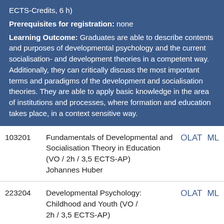ECTS-Credits, 6 h)
Prerequisites for registration: none
Learning Outcome: Graduates are able to describe contents and purposes of developmental psychology and the current socialisation- and development theories in a competent way. Additionally, they can critically discuss the most important terms and paradigms of the development and socialisation theories. They are able to apply basic knowledge in the area of institutions and processes, where formation and education takes place, in a context sensitive way.
| ID | Course | Links |
| --- | --- | --- |
| 103201 | Fundamentals of Developmental and Socialisation Theory in Education (VO / 2h / 3,5 ECTS-AP)
Johannes Huber | OLAT  ML |
| 223204 | Developmental Psychology: Childhood and Youth (VO / 2h / 3,5 ECTS-AP) | OLAT  ML |